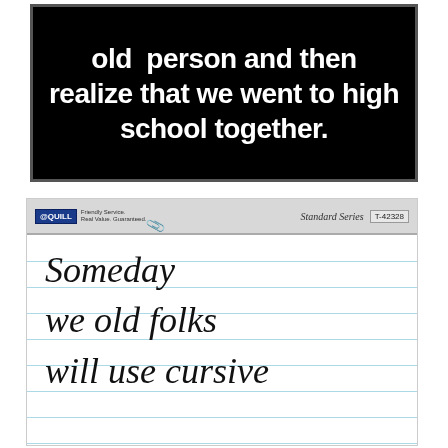[Figure (photo): Black background meme image with white bold text reading: 'old person and then realize that we went to high school together.']
[Figure (photo): Photo of a Quill brand lined notebook paper with cursive handwriting reading: 'Someday we old folks will use cursive' — header shows Quill Standard Series T-42328 label with paperclip.]